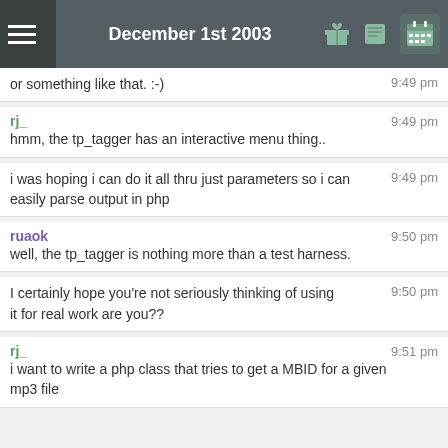December 1st 2003
or something like that. :-)  9:49 pm
rj_  9:49 pm
hmm, the tp_tagger has an interactive menu thing..
i was hoping i can do it all thru just parameters so i can easily parse output in php  9:49 pm
ruaok  9:50 pm
well, the tp_tagger is nothing more than a test harness.
I certainly hope you're not seriously thinking of using it for real work are you??  9:50 pm
rj_  9:51 pm
i want to write a php class that tries to get a MBID for a given mp3 file